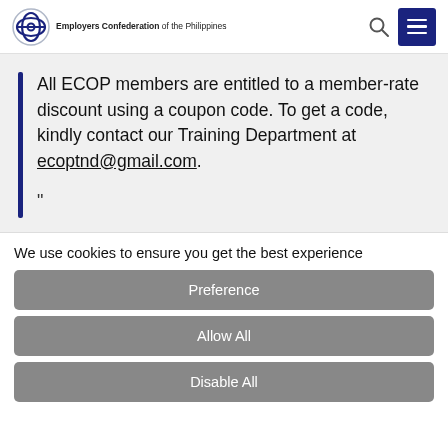Employers Confederation of the Philippines
All ECOP members are entitled to a member-rate discount using a coupon code. To get a code, kindly contact our Training Department at ecoptnd@gmail.com.
We use cookies to ensure you get the best experience
Preference
Allow All
Disable All